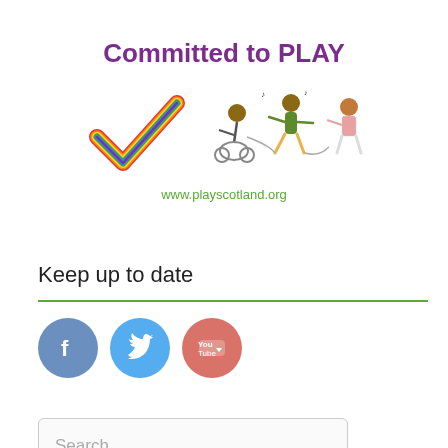[Figure (logo): Committed to PLAY logo with rainbow checkmark, cartoon children playing, and URL www.playscotland.org]
Keep up to date
[Figure (infographic): Social media icons: Facebook (grey-blue circle), Twitter (blue circle), YouTube (red circle)]
[Figure (screenshot): Search box with placeholder text 'Search ...']